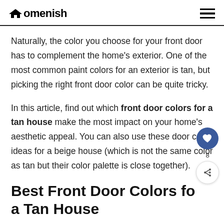Homenish
Naturally, the color you choose for your front door has to complement the home's exterior. One of the most common paint colors for an exterior is tan, but picking the right front door color can be quite tricky.
In this article, find out which front door colors for a tan house make the most impact on your home's aesthetic appeal. You can also use these door color ideas for a beige house (which is not the same color as tan but their color palette is close together).
Best Front Door Colors for a Tan House